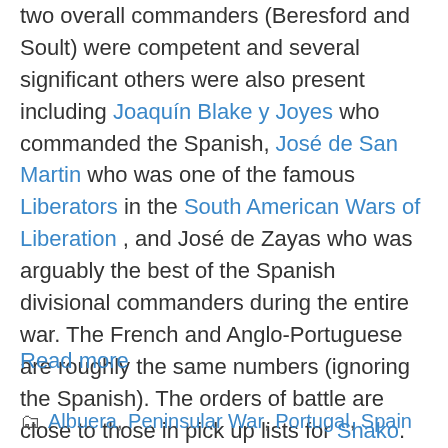two overall commanders (Beresford and Soult) were competent and several significant others were also present including Joaquín Blake y Joyes who commanded the Spanish, José de San Martin who was one of the famous Liberators in the South American Wars of Liberation , and José de Zayas who was arguably the best of the Spanish divisional commanders during the entire war. The French and Anglo-Portuguese are roughly the same numbers (ignoring the Spanish). The orders of battle are close to those in pick up lists for Shako.
Read more
Albuera, Peninsular War, Portugal, Spain